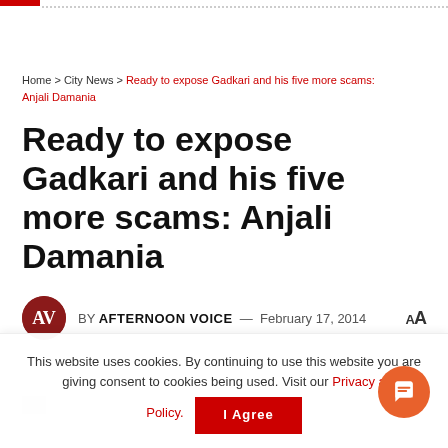Home > City News > Ready to expose Gadkari and his five more scams: Anjali Damania
Ready to expose Gadkari and his five more scams: Anjali Damania
BY AFTERNOON VOICE — February 17, 2014
This website uses cookies. By continuing to use this website you are giving consent to cookies being used. Visit our Privacy and Cookie Policy.
I Agree